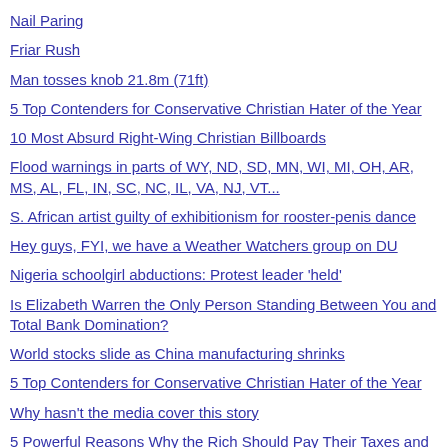Nail Paring
Friar Rush
Man tosses knob 21.8m (71ft)
5 Top Contenders for Conservative Christian Hater of the Year
10 Most Absurd Right-Wing Christian Billboards
Flood warnings in parts of WY, ND, SD, MN, WI, MI, OH, AR, MS, AL, FL, IN, SC, NC, IL, VA, NJ, VT...
S. African artist guilty of exhibitionism for rooster-penis dance
Hey guys, FYI, we have a Weather Watchers group on DU
Nigeria schoolgirl abductions: Protest leader 'held'
Is Elizabeth Warren the Only Person Standing Between You and Total Bank Domination?
World stocks slide as China manufacturing shrinks
5 Top Contenders for Conservative Christian Hater of the Year
Why hasn't the media cover this story
5 Powerful Reasons Why the Rich Should Pay Their Taxes and Not Game the System